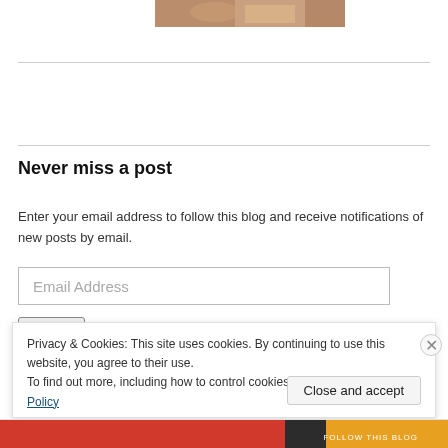[Figure (photo): Partial cropped photo at top center, appears to show food or baked goods]
Never miss a post
Enter your email address to follow this blog and receive notifications of new posts by email.
Email Address (input field placeholder)
Privacy & Cookies: This site uses cookies. By continuing to use this website, you agree to their use.
To find out more, including how to control cookies, see here: Cookie Policy
Close and accept